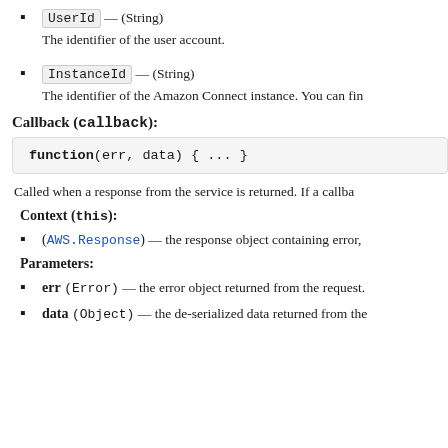UserId — (String)
The identifier of the user account.
InstanceId — (String)
The identifier of the Amazon Connect instance. You can fin
Callback (callback):
function(err, data) { ... }
Called when a response from the service is returned. If a callba
Context (this):
(AWS.Response) — the response object containing error,
Parameters:
err (Error) — the error object returned from the request.
data (Object) — the de-serialized data returned from the